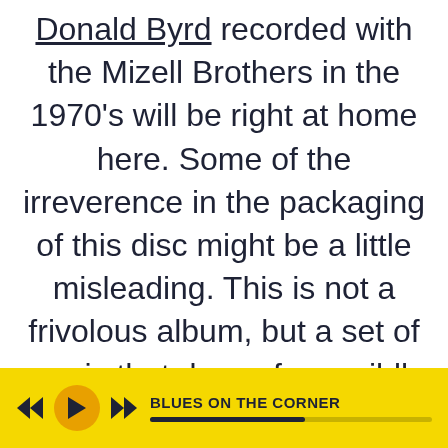Donald Byrd recorded with the Mizell Brothers in the 1970's will be right at home here. Some of the irreverence in the packaging of this disc might be a little misleading. This is not a frivolous album, but a set of music that draws from wildly diverse influences like martial arts movies, comic books and video
[Figure (other): Music player bar with yellow background showing rewind, play, and forward buttons, track title 'BLUES ON THE CORNER', and a progress bar]